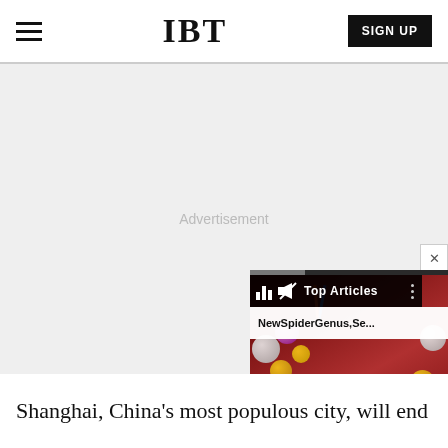IBT | SIGN UP
[Figure (screenshot): IBT website header with hamburger menu icon on left, IBT logo in center, and black SIGN UP button on right]
[Figure (screenshot): Advertisement placeholder area (gray background with 'Advertisement' text), partially overlaid by a video widget showing a David Bowie-like face with colorful bubbles, a 'Top Articles' label bar with bar chart icon, and a 'NewSpiderGenus,Se...' article title bar. A close (X) button appears at top right of widget.]
Shanghai, China's most populous city, will end